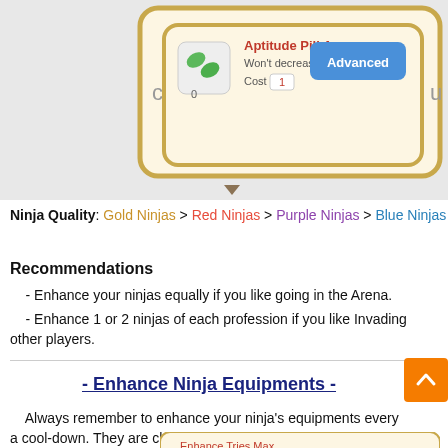[Figure (screenshot): Game UI screenshot showing Aptitude Pill A item: Won't decrease if failed, Cost 1, with Advanced button]
Ninja Quality: Gold Ninjas > Red Ninjas > Purple Ninjas > Blue Ninjas
Recommendations
- Enhance your ninjas equally if you like going in the Arena.
- Enhance 1 or 2 ninjas of each profession if you like Invading other players.
- Enhance Ninja Equipments -
Always remember to enhance your ninja's equipments every a cool-down. They are cheap and can also increase your ninja's overall Focus value.
[Figure (screenshot): Partial screenshot showing Enhance Tries Max dialog]